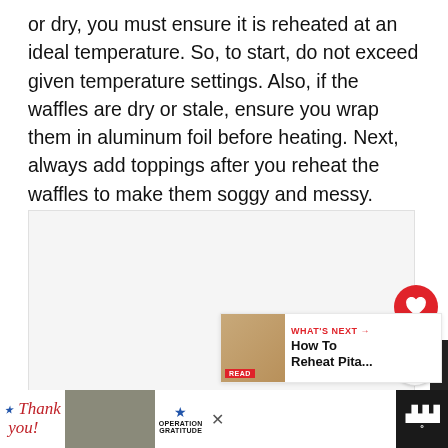or dry, you must ensure it is reheated at an ideal temperature. So, to start, do not exceed given temperature settings. Also, if the waffles are dry or stale, ensure you wrap them in aluminum foil before heating. Next, always add toppings after you reheat the waffles to make them soggy and messy.
[Figure (photo): A large empty white/light gray image placeholder box, with a red heart favorite button on the right side and a share button below it. In the bottom-right corner, a 'What's Next' card shows a thumbnail of pita bread with text 'How To Reheat Pita...']
[Figure (photo): Advertisement bar at the bottom: 'Thank you!' text in red cursive with American flag star, military personnel photo, Operation Gratitude logo, close button X, and weather widget icon.]